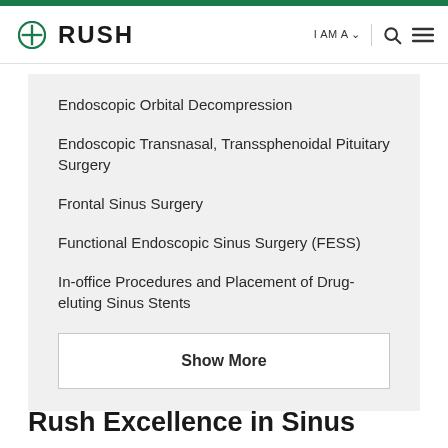RUSH | I AM A | Search | Menu
Endoscopic Orbital Decompression
Endoscopic Transnasal, Transsphenoidal Pituitary Surgery
Frontal Sinus Surgery
Functional Endoscopic Sinus Surgery (FESS)
In-office Procedures and Placement of Drug-eluting Sinus Stents
Show More
Rush Excellence in Sinus